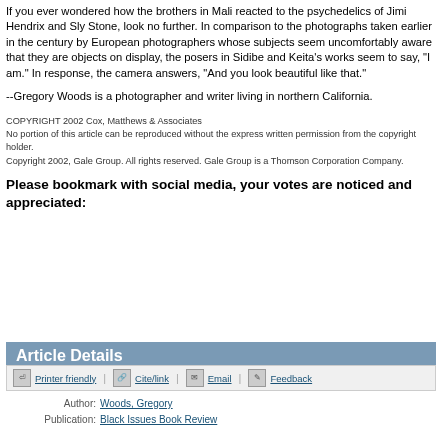If you ever wondered how the brothers in Mali reacted to the psychedelics of Jimi Hendrix and Sly Stone, look no further. In comparison to the photographs taken earlier in the century by European photographers whose subjects seem uncomfortably aware that they are objects on display, the posers in Sidibe and Keita's works seem to say, "I am." In response, the camera answers, "And you look beautiful like that."
--Gregory Woods is a photographer and writer living in northern California.
COPYRIGHT 2002 Cox, Matthews & Associates
No portion of this article can be reproduced without the express written permission from the copyright holder.
Copyright 2002, Gale Group. All rights reserved. Gale Group is a Thomson Corporation Company.
Please bookmark with social media, your votes are noticed and appreciated:
Article Details
Printer friendly  Cite/link  Email  Feedback
Author: Woods, Gregory
Publication: Black Issues Book Review